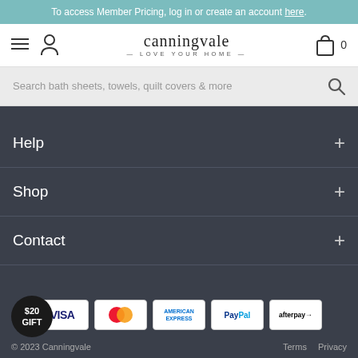To access Member Pricing, log in or create an account here.
[Figure (logo): Canningvale — LOVE YOUR HOME — brand logo with hamburger menu, person icon, and shopping bag icon]
Search bath sheets, towels, quilt covers & more
Help +
Shop +
Contact +
[Figure (other): Payment method icons: VISA, Mastercard, American Express, PayPal, afterpay]
© 2023 Canningvale   Terms   Privacy
[Figure (other): $20 GIFT badge circle]